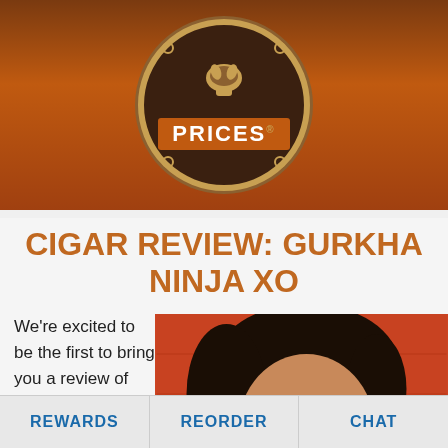[Figure (logo): Circular logo with brown background, gold border, leaf/fist icon, and 'PRICES' text in white on orange banner with registered trademark symbol. Small circle decorations on sides.]
CIGAR REVIEW: GURKHA NINJA XO
[Figure (photo): Close-up photo of a man with dark hair and mustache against a red brick wall background.]
We're excited to be the first to bring you a review of the new Gurkha Ninja. It's a much simpler
REWARDS   REORDER   CHAT